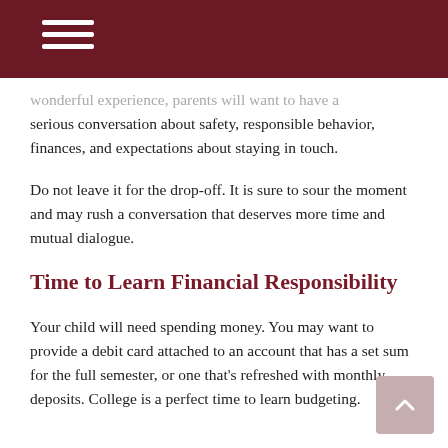wonderful experience, parents will want to have a serious conversation about safety, responsible behavior, finances, and expectations about staying in touch.
Do not leave it for the drop-off. It is sure to sour the moment and may rush a conversation that deserves more time and mutual dialogue.
Time to Learn Financial Responsibility
Your child will need spending money. You may want to provide a debit card attached to an account that has a set sum for the full semester, or one that's refreshed with monthly deposits. College is a perfect time to learn budgeting.